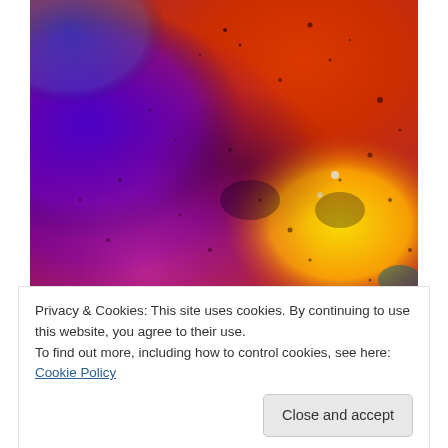[Figure (photo): Abstract watercolor painting with vibrant swirling colors including deep purple, red, orange, yellow, and blue with paint splatter effects]
Privacy & Cookies: This site uses cookies. By continuing to use this website, you agree to their use.
To find out more, including how to control cookies, see here: Cookie Policy
Close and accept
Exclusive ARTSY Online Exhibition